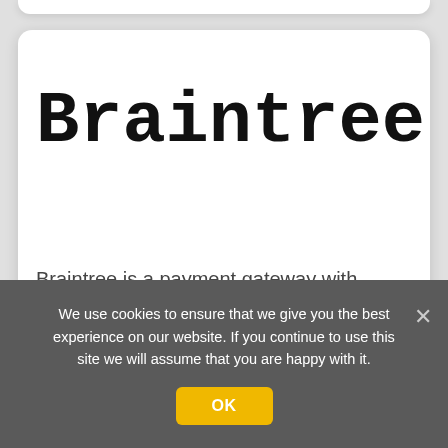Braintree
Braintree is a payment gateway with several types of payment methods.
View gateway details
We use cookies to ensure that we give you the best experience on our website. If you continue to use this site we will assume that you are happy with it.